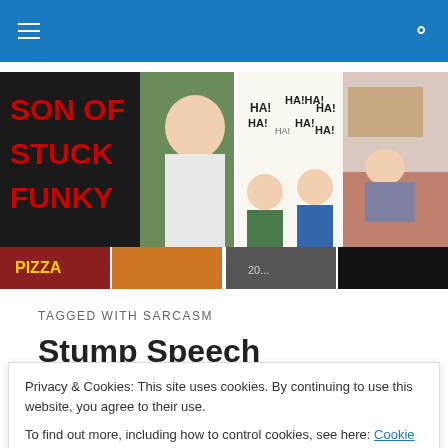Son of Stuck Funky - Navigation bar with hamburger menu and search icon
[Figure (screenshot): Son of Stuck Funky blog banner with logo text 'SON OF STUCK FUNKY' in red on black background with cartoon character, plus two comic strip thumbnail panels]
[Figure (screenshot): Second row of four smaller comic strip thumbnail images]
TAGGED WITH SARCASM
Stump Speech
Privacy & Cookies: This site uses cookies. By continuing to use this website, you agree to their use.
To find out more, including how to control cookies, see here: Cookie Policy

Close and accept
course, the overly-long post ended with me screaming at